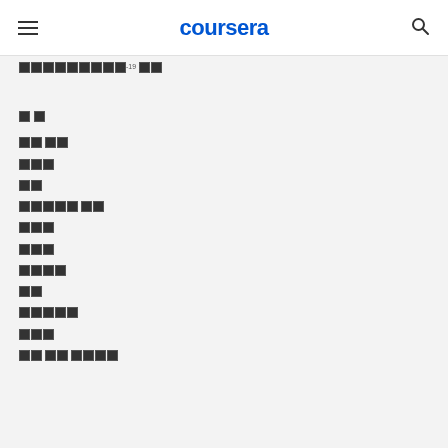coursera
코로나바이러스-19 대응
목차
강의 소개
강사진
개요
코로나19 배경
역학
진단
임상
관리
사전예방
지역
이후 세계 및 결론